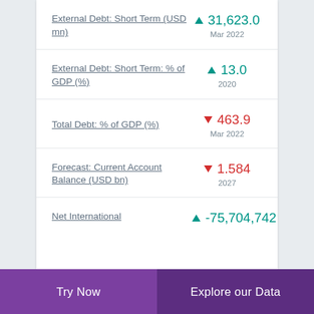External Debt: Short Term (USD mn)
External Debt: Short Term: % of GDP (%)
Total Debt: % of GDP (%)
Forecast: Current Account Balance (USD bn)
Net International
Try Now
Explore our Data